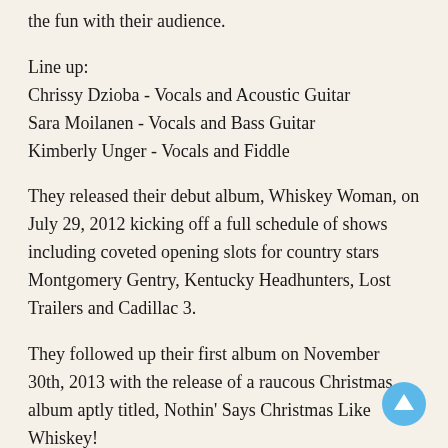the fun with their audience.
Line up:
Chrissy Dzioba - Vocals and Acoustic Guitar
Sara Moilanen - Vocals and Bass Guitar
Kimberly Unger - Vocals and Fiddle
They released their debut album, Whiskey Woman, on July 29, 2012 kicking off a full schedule of shows including coveted opening slots for country stars Montgomery Gentry, Kentucky Headhunters, Lost Trailers and Cadillac 3.
They followed up their first album on November 30th, 2013 with the release of a raucous Christmas album aptly titled, Nothin' Says Christmas Like Whiskey!